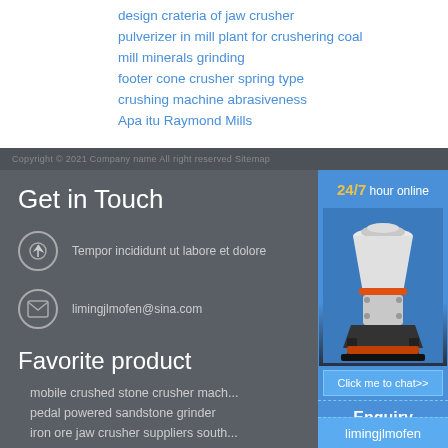design crateria of jaw crusher
pulverizer in mill plant for crushering coal
mill minerals grinding
footer cone crusher spring type
crushing machine abrasiveness
Apa itu Raymond Mills
Copyright © 2021 Company name All right reserved Sitemap
Get in Touch
Tempor incididunt ut labore et dolore
limingjlmofen@sina.com
Favorite product
mobile crushed stone crusher mach...
pedal powered sandstone grinder
iron ore jaw crusher suppliers south...
rock crushing balls for mining manu...
[Figure (illustration): Cone crusher machine illustration with 24/7 hour online label, Click me to chat button, Enquiry button, and limingjlmofen button]